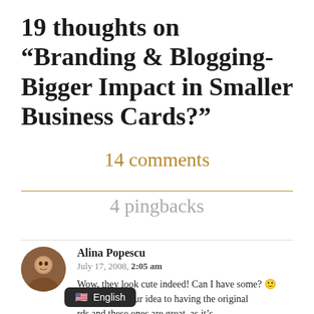19 thoughts on “Branding & Blogging-Bigger Impact in Smaller Business Cards?”
14 comments
4 pingbacks
Alina Popescu
July 17, 2008, 2:05 am
Wow, they look cute indeed! Can I have some? 😊 And I think your idea to having the original rds and these ones are great, as it’s t different people with them